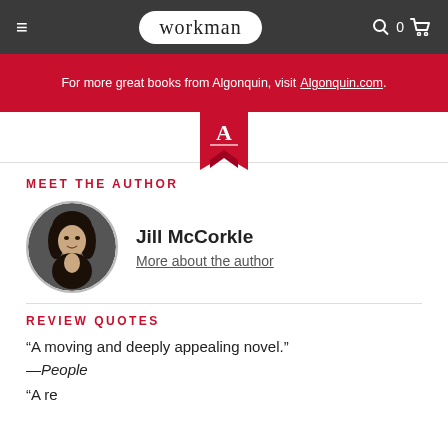workman
For more great books from Algonquin, visit Algonquin.com.
[Figure (logo): Algonquin bookmark logo with letter A]
MEET THE AUTHOR
[Figure (photo): Circular portrait photo of author Jill McCorkle]
Jill McCorkle
More about the author
REVIEW QUOTES
“A moving and deeply appealing novel.”
—People
“A re